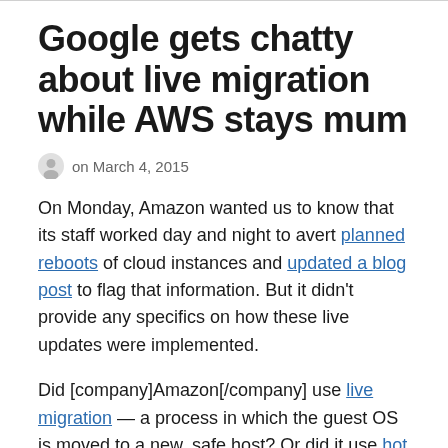Google gets chatty about live migration while AWS stays mum
on March 4, 2015
On Monday, Amazon wanted us to know that its staff worked day and night to avert planned reboots of cloud instances and updated a blog post to flag that information. But it didn't provide any specifics on how these live updates were implemented.
Did [company]Amazon[/company] use live migration — a process in which the guest OS is moved to a new, safe host? Or did it use hot patching in which dynamic kernel…